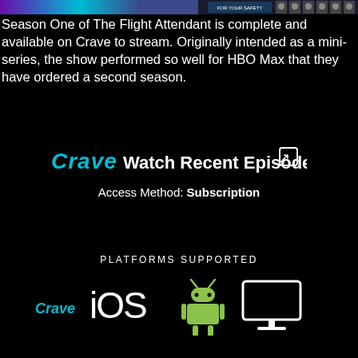[Figure (screenshot): Top banner with purple/teal gradient on left and TV show thumbnails on right (FOR YOUR SAFETY text visible)]
Season One of The Flight Attendant is complete and available on Crave to stream. Originally intended as a mini-series, the show performed so well for HBO Max that they have ordered a second season.
[Figure (logo): Crave logo with Watch Recent Episodes link and external link icon]
Access Method: Subscription
PLATFORMS SUPPORTED
[Figure (infographic): Platform icons: Crave logo, iOS text, Android robot icon, TV/monitor icon]